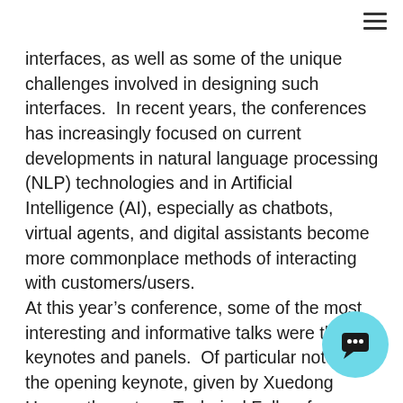interfaces, as well as some of the unique challenges involved in designing such interfaces.  In recent years, the conferences has increasingly focused on current developments in natural language processing (NLP) technologies and in Artificial Intelligence (AI), especially as chatbots, virtual agents, and digital assistants become more commonplace methods of interacting with customers/users.
At this year's conference, some of the most interesting and informative talks were the keynotes and panels.  Of particular note was the opening keynote, given by Xuedong Huang, the estee... Technical Fellow from Microsoft, who provided... "state of the union" assessment of the field, and